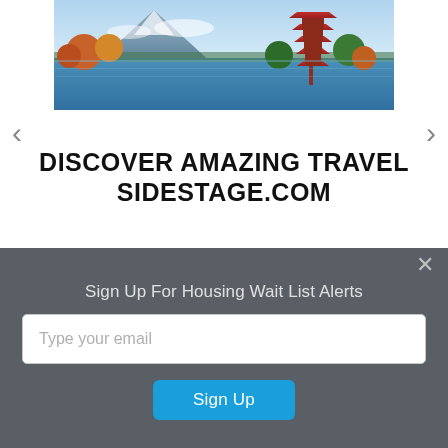[Figure (photo): Travel photo showing Mount Fuji with a Japanese pagoda, autumn foliage, and a lake in the background]
DISCOVER AMAZING TRAVEL SIDESTAGE.COM
[Figure (screenshot): Advertisement banner with dark blue swirling background showing text 'Overthrow the' with ad controls (play and close icons)]
Sign Up For Housing Wait List Alerts
Type your email
Sign Up